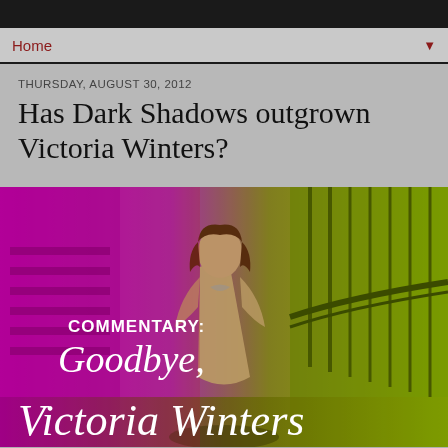Home
THURSDAY, AUGUST 30, 2012
Has Dark Shadows outgrown Victoria Winters?
[Figure (illustration): Colorful promotional image showing a woman in a vintage dress standing in front of a grand staircase, with magenta/pink lighting on the left and yellow-green lighting on the right. Text overlay reads 'COMMENTARY: Goodbye, Victoria Winters' in stylized script and sans-serif fonts.]